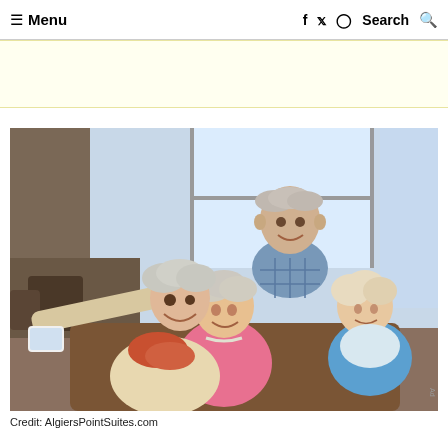≡ Menu   f  🐦  ⊙  Search 🔍
[Figure (other): Yellow advertisement banner strip]
[Figure (photo): Group of four elderly people taking a selfie together in a bright lounge/cafe setting. One woman on the left is holding the phone camera, a man in plaid shirt is standing behind, and two women are seated on a couch. They are all smiling.]
Credit: AlgiersPointSuites.com